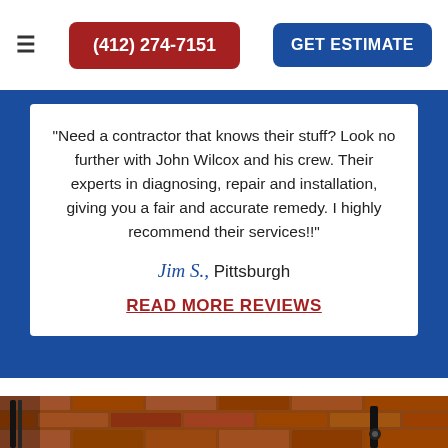(412) 274-7151 | GET ESTIMATE
"Need a contractor that knows their stuff? Look no further with John Wilcox and his crew. Their experts in diagnosing, repair and installation, giving you a fair and accurate remedy. I highly recommend their services!!"
Jim S.,  Pittsburgh
READ MORE REVIEWS
[Figure (photo): Brick wall background with pipes and equipment visible, partial view of a contractor working on plumbing or similar installation]